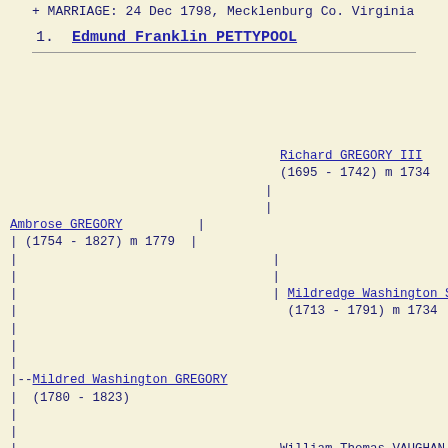MARRIAGE: 24 Dec 1798, Mecklenburg Co. Virginia
1. Edmund Franklin PETTYPOOL
[Figure (other): Genealogical ancestor tree diagram showing family relationships: Ambrose GREGORY (1754-1827) m 1779 with parents Richard GREGORY III (1695-1742) m 1734 and Mildredge Washington SMITH (1713-1791) m 1734; Mildred Washington GREGORY (1780-1823); Sarah "Sally" VAUGHAN with parent William Thomas VAUGHAN (1705-1786) m 1744]